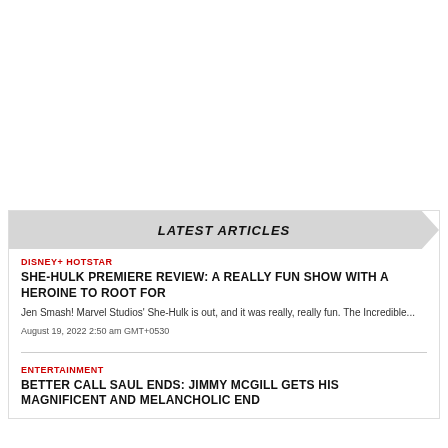LATEST ARTICLES
DISNEY+ HOTSTAR
SHE-HULK PREMIERE REVIEW: A REALLY FUN SHOW WITH A HEROINE TO ROOT FOR
Jen Smash! Marvel Studios' She-Hulk is out, and it was really, really fun. The Incredible...
August 19, 2022 2:50 am GMT+0530
ENTERTAINMENT
BETTER CALL SAUL ENDS: JIMMY MCGILL GETS HIS MAGNIFICENT AND MELANCHOLIC END